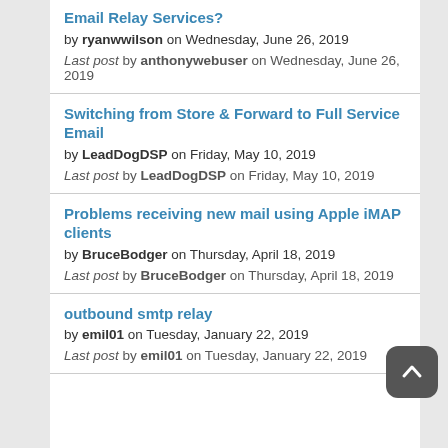Email Relay Services? by ryanwwilson on Wednesday, June 26, 2019. Last post by anthonywebuser on Wednesday, June 26, 2019
Switching from Store & Forward to Full Service Email by LeadDogDSP on Friday, May 10, 2019. Last post by LeadDogDSP on Friday, May 10, 2019
Problems receiving new mail using Apple iMAP clients by BruceBodger on Thursday, April 18, 2019. Last post by BruceBodger on Thursday, April 18, 2019
outbound smtp relay by emil01 on Tuesday, January 22, 2019. Last post by emil01 on Tuesday, January 22, 2019